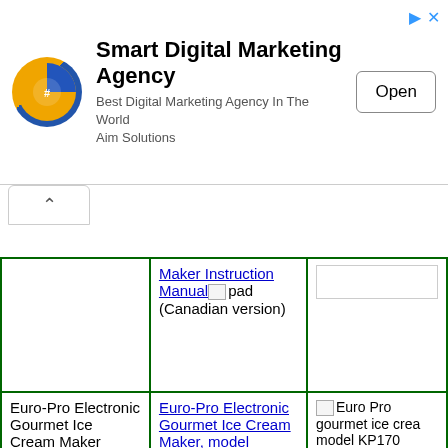[Figure (other): Smart Digital Marketing Agency advertisement banner with logo, tagline 'Best Digital Marketing Agency In The World Aim Solutions', and Open button]
|  | Manual/Link | Image |
| --- | --- | --- |
|  | Maker Instruction Manual [img] pad (Canadian version) |  |
| Euro-Pro Electronic Gourmet Ice Cream Maker | Euro-Pro Electronic Gourmet Ice Cream Maker, model KP170, and KP170E instruction manual, directions, and recipes! | Euro Pro gourmet ice cream model KP170 |
|  | DAK Gelatissimo ice cream maker. This is an Italian |  |